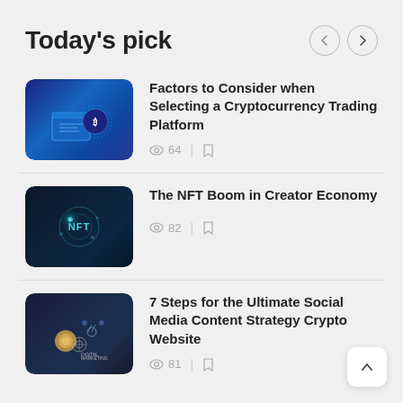Today's pick
Factors to Consider when Selecting a Cryptocurrency Trading Platform — 64 views
The NFT Boom in Creator Economy — 82 views
7 Steps for the Ultimate Social Media Content Strategy Crypto Website — 81 views